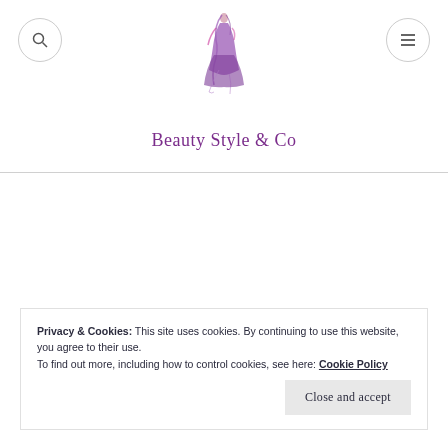[Figure (illustration): Fashion illustration of a woman in an elegant purple dress, serving as the site logo for Beauty Style & Co]
Beauty Style & Co
Privacy & Cookies: This site uses cookies. By continuing to use this website, you agree to their use.
To find out more, including how to control cookies, see here: Cookie Policy
Close and accept